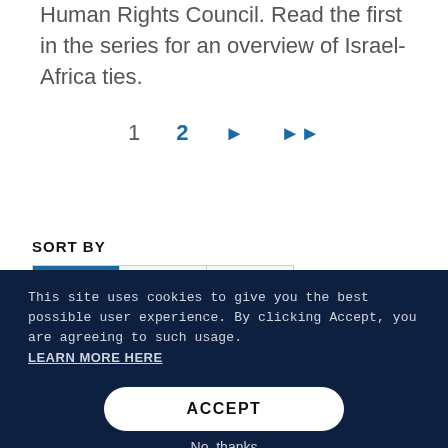Human Rights Council. Read the first in the series for an overview of Israel-Africa ties.
1  2  ▶  ▶▶
SORT BY
Relevance | Date | Title
This site uses cookies to give you the best possible user experience.  By clicking Accept, you are agreeing to such usage.
LEARN MORE HERE
ACCEPT
No, thanks